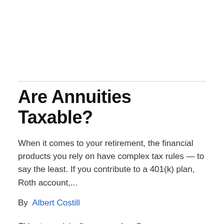Are Annuities Taxable?
When it comes to your retirement, the financial products you rely on have complex tax rules — to say the least. If you contribute to a 401(k) plan, Roth account,...
By  Albert Costill
This story originally appeared on Due
When it comes to your retirement, the financial products you rely on have complex